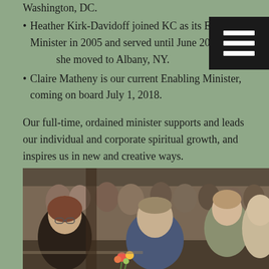Washington, DC.
Heather Kirk-Davidoff joined KC as its Enabling Minister in 2005 and served until June 2017 when she moved to Albany, NY.
Claire Matheny is our current Enabling Minister, coming on board July 1, 2018.
Our full-time, ordained minister supports and leads our individual and corporate spiritual growth, and inspires us in new and creative ways.
[Figure (photo): Group of people seated at tables in what appears to be a community gathering or church event. Several adults visible including a woman with glasses in foreground and a man in a plaid shirt.]